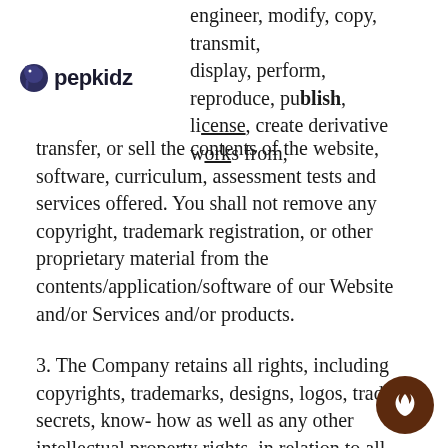pepkidz
engineer, modify, copy, transmit, display, perform, reproduce, publish, license, create derivative works from, transfer, or sell the contents of the website, software, curriculum, assessment tests and services offered. You shall not remove any copyright, trademark registration, or other proprietary material from the contents/application/software of our Website and/or Services and/or products.
3. The Company retains all rights, including copyrights, trademarks, designs, logos, trade-secrets, know-how as well as any other intellectual property rights, in relation to all information provided on or via this Platform. The company also retains all right, including but not limited to the curriculum taught and assessment tests.